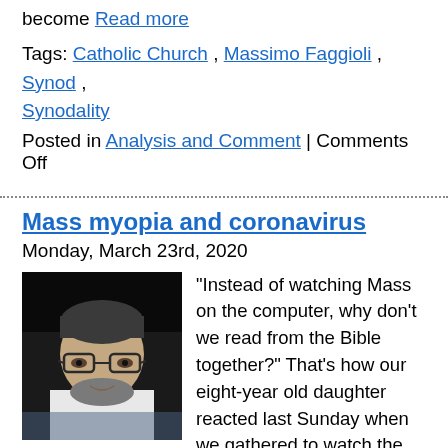become Read more
Tags: Catholic Church , Massimo Faggioli , Synod , Synodality
Posted in Analysis and Comment | Comments Off
Mass myopia and coronavirus
Monday, March 23rd, 2020
[Figure (photo): Portrait photo of a man with glasses and beard wearing a white shirt, dark background]
“Instead of watching Mass on the computer, why don’t we read from the Bible together?” That’s how our eight-year old daughter reacted last Sunday when we gathered to watch the celebration of Mass at home, where we’ve been self-quarantined